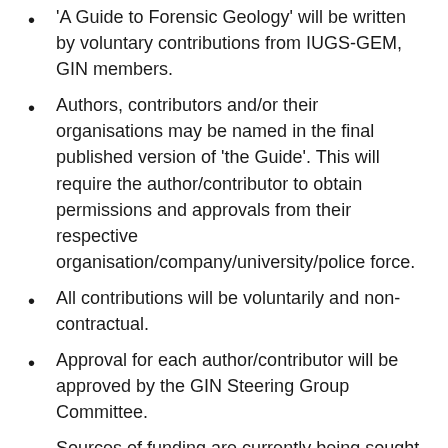'A Guide to Forensic Geology' will be written by voluntary contributions from IUGS-GEM, GIN members.
Authors, contributors and/or their organisations may be named in the final published version of 'the Guide'. This will require the author/contributor to obtain permissions and approvals from their respective organisation/company/university/police force.
All contributions will be voluntarily and non-contractual.
Approval for each author/contributor will be approved by the GIN Steering Group Committee.
Sources of funding are currently being sought and GIN Members will be kept informed if any funds are secured. However, if no funding is found the